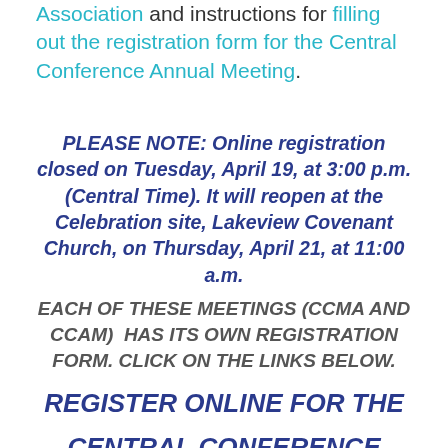Association and instructions for filling out the registration form for the Central Conference Annual Meeting.
PLEASE NOTE: Online registration closed on Tuesday, April 19, at 3:00 p.m. (Central Time). It will reopen at the Celebration site, Lakeview Covenant Church, on Thursday, April 21, at 11:00 a.m.
EACH OF THESE MEETINGS (CCMA AND CCAM) HAS ITS OWN REGISTRATION FORM. CLICK ON THE LINKS BELOW.
REGISTER ONLINE FOR THE CENTRAL CONFERENCE